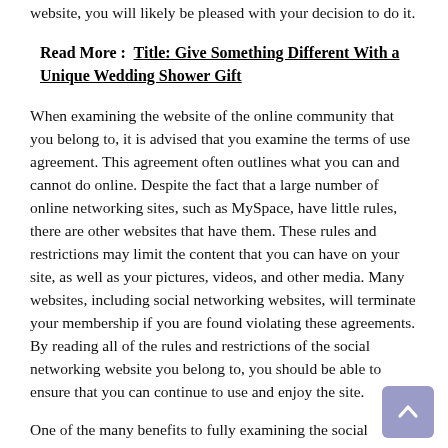website, you will likely be pleased with your decision to do it.
Read More :  Title: Give Something Different With a Unique Wedding Shower Gift
When examining the website of the online community that you belong to, it is advised that you examine the terms of use agreement. This agreement often outlines what you can and cannot do online. Despite the fact that a large number of online networking sites, such as MySpace, have little rules, there are other websites that have them. These rules and restrictions may limit the content that you can have on your site, as well as your pictures, videos, and other media. Many websites, including social networking websites, will terminate your membership if you are found violating these agreements. By reading all of the rules and restrictions of the social networking website you belong to, you should be able to ensure that you can continue to use and enjoy the site.
One of the many benefits to fully examining the social network